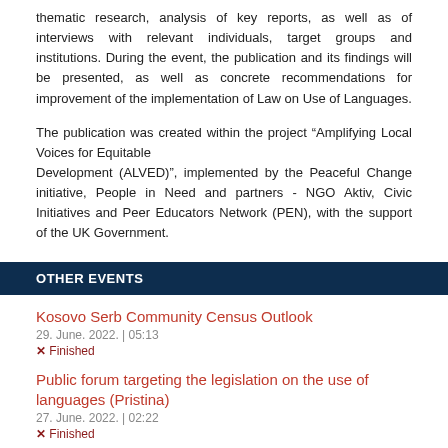thematic research, analysis of key reports, as well as of interviews with relevant individuals, target groups and institutions. During the event, the publication and its findings will be presented, as well as concrete recommendations for improvement of the implementation of Law on Use of Languages.
The publication was created within the project “Amplifying Local Voices for Equitable Development (ALVED)”, implemented by the Peaceful Change initiative, People in Need and partners - NGO Aktiv, Civic Initiatives and Peer Educators Network (PEN), with the support of the UK Government.
OTHER EVENTS
Kosovo Serb Community Census Outlook
29. June. 2022. | 05:13
× Finished
Public forum targeting the legislation on the use of languages (Pristina)
27. June. 2022. | 02:22
× Finished
Art Exhibition: Veselj Saliji (Prizren)
22. June. 2022. | 02:02
× Finished